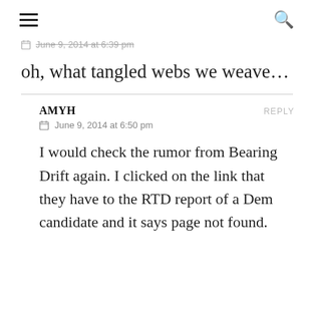≡ 🔍
June 9, 2014 at 6:39 pm
oh, what tangled webs we weave...
AMYH
REPLY
June 9, 2014 at 6:50 pm
I would check the rumor from Bearing Drift again. I clicked on the link that they have to the RTD report of a Dem candidate and it says page not found.